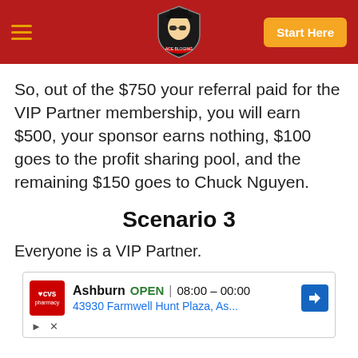Navigation header with hamburger menu, logo, and Start Here button
So, out of the $750 your referral paid for the VIP Partner membership, you will earn $500, your sponsor earns nothing, $100 goes to the profit sharing pool, and the remaining $150 goes to Chuck Nguyen.
Scenario 3
Everyone is a VIP Partner.
[Figure (other): CVS Pharmacy advertisement showing Ashburn location, OPEN status, hours 08:00-00:00, address 43930 Farmwell Hunt Plaza, As..., with navigation arrow icon]